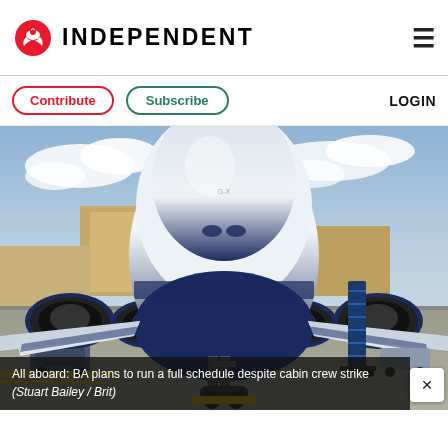INDEPENDENT
Contribute  Subscribe  LOGIN
[Figure (photo): Front nose-on view of a British Airways large passenger aircraft (likely A380) parked on tarmac at an airport, with engines visible on both sides, landing gear visible, a mobile stairway attached on the right, and airport terminal/hangar buildings in the background under a partly cloudy sky.]
All aboard: BA plans to run a full schedule despite cabin crew strike (Stuart Bailey / Brit)